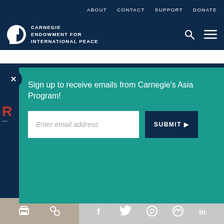ABOUT  CONTACT  SUPPORT  DONATE
[Figure (logo): Carnegie Endowment for International Peace logo - white circle with dark C shape and text]
CARNEGIE ENDOWMENT FOR INTERNATIONAL PEACE
Sign up to receive emails from Carnegie's Asia Program!
Enter email address
SUBMIT ▶
our cookie policy.
[Figure (infographic): Bottom social sharing bar with print, link, Facebook, Twitter, WhatsApp, Messenger, and LinkedIn icons]